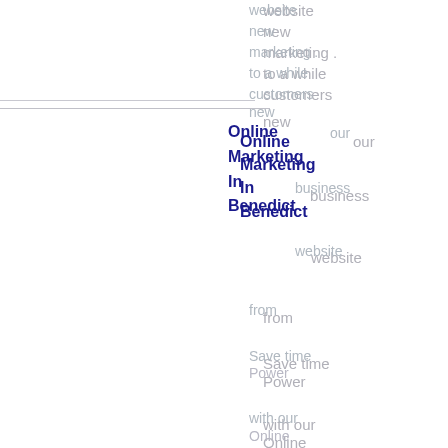website
new
marketing .
to a while
customers
Online
Marketing
In
Benedict
new
our
business
website
from
Save time
Power
with our
Online
experienced
marketing
of
.
website
marketing
professionals
as Power
Online Power
Online marketing .
marketing
will find
Online
Marketing
In Berlin
Online
Marketing
In